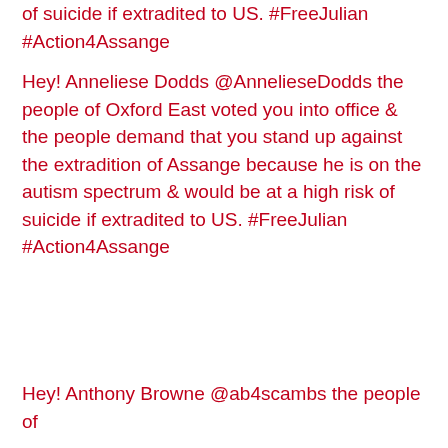of suicide if extradited to US. #FreeJulian #Action4Assange
Hey! Anneliese Dodds @AnnelieseDodds the people of Oxford East voted you into office & the people demand that you stand up against the extradition of Assange because he is on the autism spectrum & would be at a high risk of suicide if extradited to US. #FreeJulian #Action4Assange
Hey! Anthony Browne @ab4scambs the people of